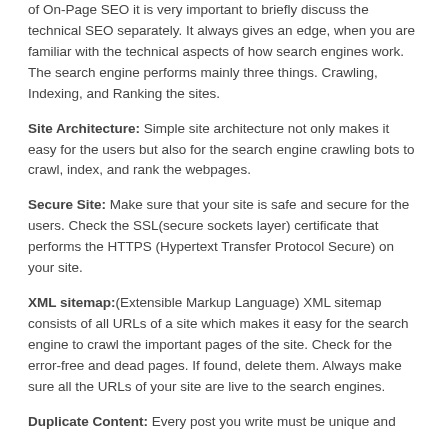of On-Page SEO it is very important to briefly discuss the technical SEO separately. It always gives an edge, when you are familiar with the technical aspects of how search engines work. The search engine performs mainly three things. Crawling, Indexing, and Ranking the sites.
Site Architecture: Simple site architecture not only makes it easy for the users but also for the search engine crawling bots to crawl, index, and rank the webpages.
Secure Site: Make sure that your site is safe and secure for the users. Check the SSL(secure sockets layer) certificate that performs the HTTPS (Hypertext Transfer Protocol Secure) on your site.
XML sitemap:(Extensible Markup Language) XML sitemap consists of all URLs of a site which makes it easy for the search engine to crawl the important pages of the site. Check for the error-free and dead pages. If found, delete them. Always make sure all the URLs of your site are live to the search engines.
Duplicate Content: Every post you write must be unique and